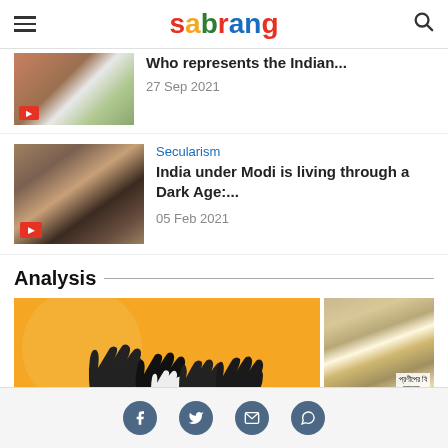sabrang
Who represents the Indian...
27 Sep 2021
Secularism
India under Modi is living through a Dark Age:...
05 Feb 2021
Analysis
[Figure (photo): Orange background with silhouette of multiple raised hands]
[Figure (photo): Protest crowd with banners in Bengali script]